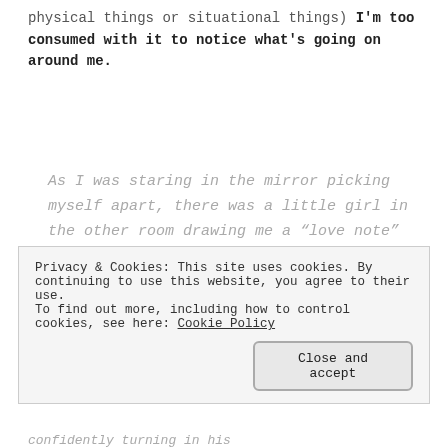physical things or situational things) I'm too consumed with it to notice what's going on around me.
As I was staring in the mirror picking myself apart, there was a little girl in the other room drawing me a “love note” with 400 pink hearts that says, “I love you, mommy!”
Privacy & Cookies: This site uses cookies. By continuing to use this website, you agree to their use. To find out more, including how to control cookies, see here: Cookie Policy
Close and accept
confidently turning in his